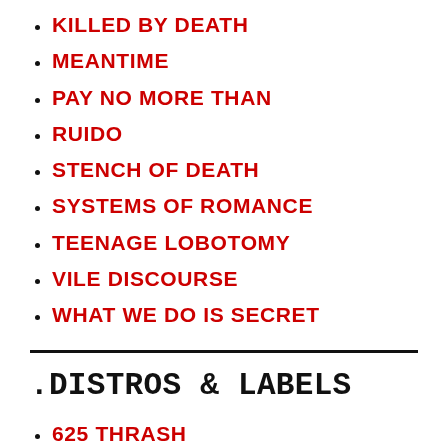KILLED BY DEATH
MEANTIME
PAY NO MORE THAN
RUIDO
STENCH OF DEATH
SYSTEMS OF ROMANCE
TEENAGE LOBOTOMY
VILE DISCOURSE
WHAT WE DO IS SECRET
.DISTROS & LABELS
625 THRASH
ABORTED SOCIETY